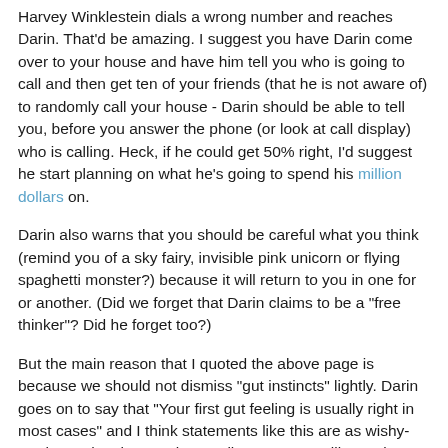Harvey Winklestein dials a wrong number and reaches Darin. That'd be amazing. I suggest you have Darin come over to your house and have him tell you who is going to call and then get ten of your friends (that he is not aware of) to randomly call your house - Darin should be able to tell you, before you answer the phone (or look at call display) who is calling. Heck, if he could get 50% right, I'd suggest he start planning on what he's going to spend his million dollars on.
Darin also warns that you should be careful what you think (remind you of a sky fairy, invisible pink unicorn or flying spaghetti monster?) because it will return to you in one for or another. (Did we forget that Darin claims to be a "free thinker"? Did he forget too?)
But the main reason that I quoted the above page is because we should not dismiss "gut instincts" lightly. Darin goes on to say that "Your first gut feeling is usually right in most cases" and I think statements like this are as wishy-washy as they have to be, to allow someone, like Darin, to make such absurd statements. Consider the wording itself.
"usually right in most cases" Putting one considers the